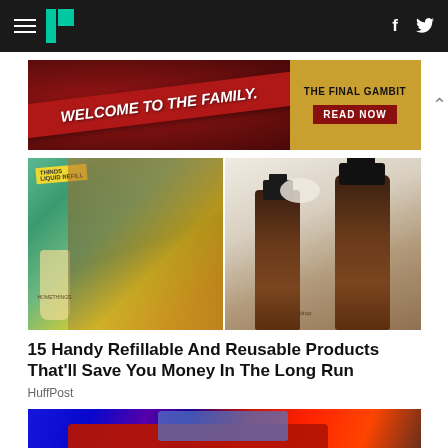HuffPost navigation bar with hamburger menu, logo, Facebook and Twitter icons
[Figure (photo): Advertisement banner: Welcome to the Family. The Final Gambit. Read Now.]
[Figure (photo): Two-panel image: left panel shows woman with curly hair next to Homethings branded cleaning product bottle; right panel shows two brown pump dispenser bottles by raindrop brand.]
15 Handy Refillable And Reusable Products That'll Save You Money In The Long Run
HuffPost
[Figure (photo): Red pickup truck in a blue-lit showroom or garage setting.]